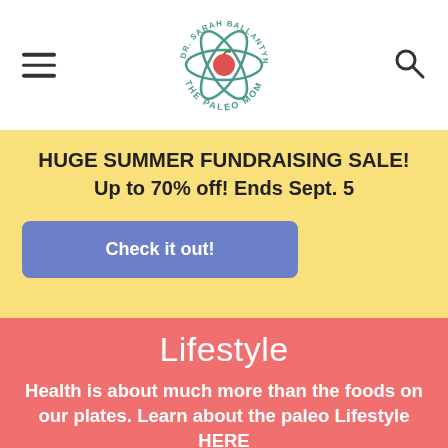The Paleo Mom — Dr. Sarah Ballantyne's
HUGE SUMMER FUNDRAISING SALE!
Up to 70% off! Ends Sept. 5
Check it out!
Lifestyle
Health is about much more than the foods on our plates.  Learn about the paleo Lifestyle HERE